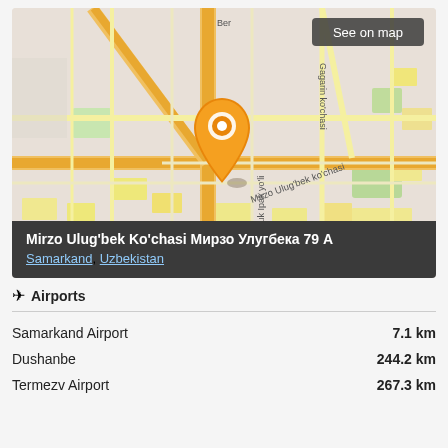[Figure (map): Street map of Samarkand, Uzbekistan centered on Mirzo Ulug'bek Ko'chasi with an orange map pin marker. Shows street labels including pay ko'chasi, Buyuk Ipak yo'li, Mirzo Ulug'bek ko'chasi, Gagarin ko'chasi. OpenStreetMap contributor credit visible.]
Mirzo Ulug'bek Ko'chasi Мирзо Улугбека 79 А
Samarkand, Uzbekistan
Airports
Samarkand Airport   7.1 km
Dushanbe   244.2 km
Termezv Airport   267.3 km